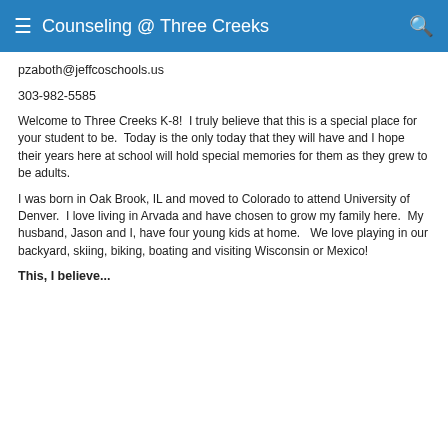Counseling @ Three Creeks
pzaboth@jeffcoschools.us
303-982-5585
Welcome to Three Creeks K-8!  I truly believe that this is a special place for your student to be.  Today is the only today that they will have and I hope their years here at school will hold special memories for them as they grew to be adults.
I was born in Oak Brook, IL and moved to Colorado to attend University of Denver.  I love living in Arvada and have chosen to grow my family here.  My husband, Jason and I, have four young kids at home.   We love playing in our backyard, skiing, biking, boating and visiting Wisconsin or Mexico!
This, I believe...